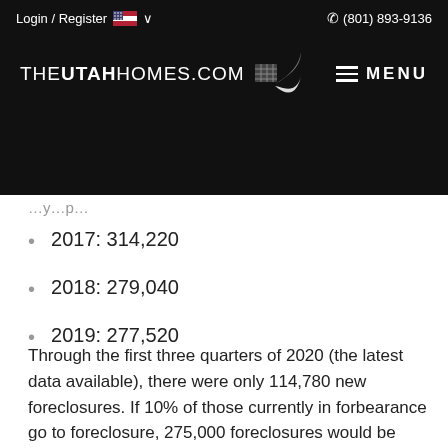Login / Register  🇺🇸 ∨    (801) 893-9136
[Figure (logo): THEUTAHHOMES.COM logo with house icon and swoosh, white on black background]
…y…p…
2017: 314,220
2018: 279,040
2019: 277,520
Through the first three quarters of 2020 (the latest data available), there were only 114,780 new foreclosures. If 10% of those currently in forbearance go to foreclosure, 275,000 foreclosures would be added to the market in 2021. That would be an average year as the numbers above show.